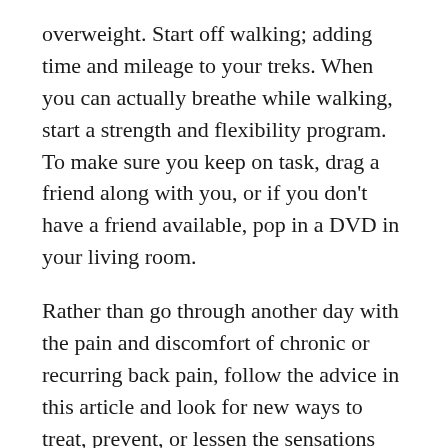overweight. Start off walking; adding time and mileage to your treks. When you can actually breathe while walking, start a strength and flexibility program. To make sure you keep on task, drag a friend along with you, or if you don't have a friend available, pop in a DVD in your living room.
Rather than go through another day with the pain and discomfort of chronic or recurring back pain, follow the advice in this article and look for new ways to treat, prevent, or lessen the sensations and symptoms of back pain. Doing so may enable you to regain control of your life and do the things that you love the most https://sanamaxusa.com.